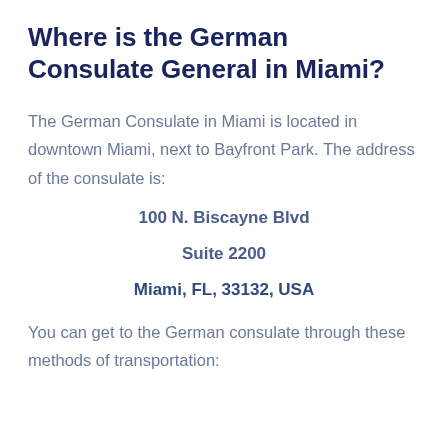Where is the German Consulate General in Miami?
The German Consulate in Miami is located in downtown Miami, next to Bayfront Park. The address of the consulate is:
100 N. Biscayne Blvd
Suite 2200
Miami, FL, 33132, USA
You can get to the German consulate through these methods of transportation: